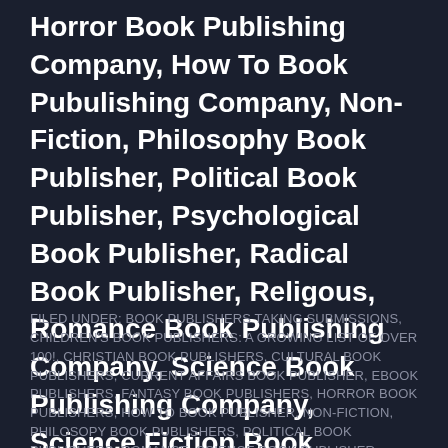Horror Book Publishing Company, How To Book Pubulishing Company, Non-Fiction, Philosophy Book Publisher, Political Book Publisher, Psychological Book Publisher, Radical Book Publisher, Religous, Romance Book Publishing Company, Science Book Publishing Company, Science Fiction Book Publishing Company, Spiritual Book Publisher, Teen Book Publishing, Thriller, Women\'s Studies, Young Adult Book Publisher
FILED UNDER: BOOK PUBLISHERS TAKING SUBMISSIONS, CHILDREN'S BOOK PUBLISHERS: A GROWING LIST OF OVER 100!, CHRISTIAN BOOK PUBLISHERS, CULTURAL BOOK PUBLISHERS, CURRENT AFFAIRS BOOK PUBLISHER, EBOOK PUBLISHERS, FANTASY BOOK PUBLISHERS, HORROR BOOK PUBLISHERS, HOW TO BOOK PUBLISHER, NON-FICTION, PHILOSOPY BOOK PUBLISHERS, POLITICAL BOOK PUBLISHERS, ROMANCE, SCIENCE BOOK PUBLISHER, SCIENCE FICTION...